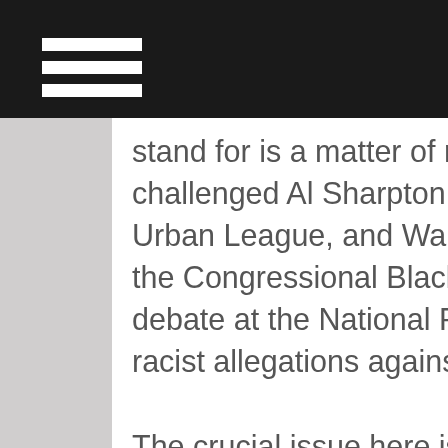[hamburger menu icon]
stand for is a matter of record. I'm the one who challenged Al Sharpton, Marc Morial of the National Urban League, and Walter Fauntroy (co-founder of the Congressional Black Caucus) to a three on one debate at the National Press Club, pursuant to their racist allegations against the Tea Party movement.

The crucial issue here is loyalty. I'm fiercely supportive of President Trump because he's the absolute